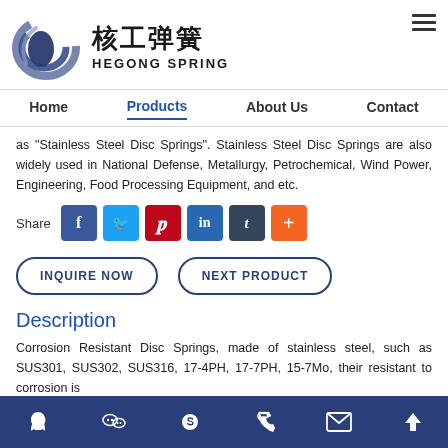[Figure (logo): Hegong Spring logo with abstract circular coil graphic and Chinese/English text]
Home | Products | About Us | Contact
as "Stainless Steel Disc Springs". Stainless Steel Disc Springs are also widely used in National Defense, Metallurgy, Petrochemical, Wind Power, Engineering, Food Processing Equipment, and etc.
Share [social media icons: Facebook, Twitter, Pinterest, LinkedIn, Tumblr, Plus]
INQUIRE NOW  NEXT PRODUCT
Description
Corrosion Resistant Disc Springs, made of stainless steel, such as SUS301, SUS302, SUS316, 17-4PH, 17-7PH, 15-7Mo, their resistant to corrosion is
Social media links: QQ, WeChat, Skype, Phone, Email, Back to top